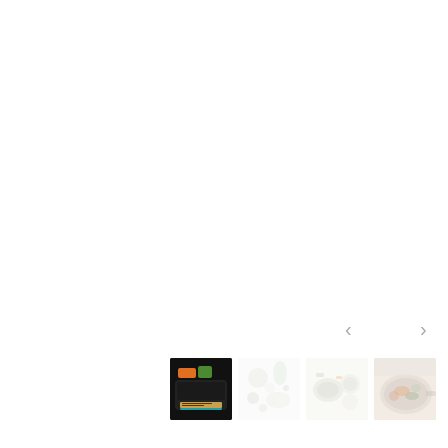[Figure (photo): Product image gallery with navigation arrows and four thumbnail images. Thumbnails show: 1) a dark meal kit tray with vegetables and label, 2) ingredients on white background (faded), 3) product tray with ingredients overhead (faded), 4) cooked dish in a pan (faded). Left and right navigation arrows are visible above the thumbnails.]